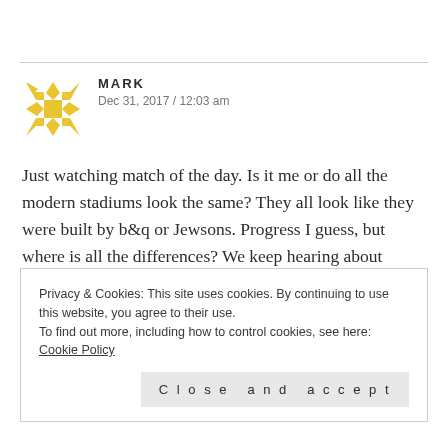[Figure (logo): Yellow geometric snowflake/star avatar icon for user Mark]
MARK
Dec 31, 2017 / 12:03 am
Just watching match of the day. Is it me or do all the modern stadiums look the same? They all look like they were built by b&q or Jewsons. Progress I guess, but where is all the differences? We keep hearing about diversity, but it seems real diversity is just not commercially viable.
Privacy & Cookies: This site uses cookies. By continuing to use this website, you agree to their use.
To find out more, including how to control cookies, see here: Cookie Policy
Close and accept